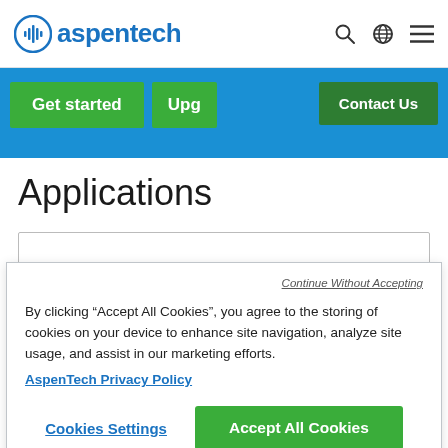aspentech — navigation header with search, language, and menu icons
[Figure (screenshot): AspenTech logo with blue circle waveform icon and text 'aspentech', with search, globe, and hamburger menu icons on the right]
[Figure (screenshot): Blue banner with two green buttons: 'Get started' and 'Upg...' partially visible, and a dark green 'Contact Us' button]
Applications
Continue Without Accepting
By clicking “Accept All Cookies”, you agree to the storing of cookies on your device to enhance site navigation, analyze site usage, and assist in our marketing efforts.
AspenTech Privacy Policy
Cookies Settings
Accept All Cookies